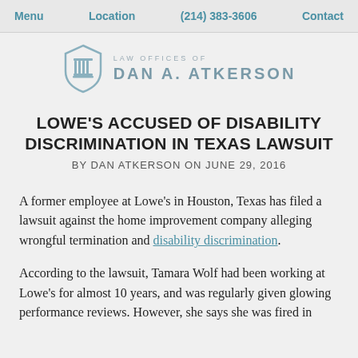Menu  Location  (214) 383-3606  Contact
[Figure (logo): Law Offices of Dan A. Atkerson logo with shield and columns icon]
LOWE'S ACCUSED OF DISABILITY DISCRIMINATION IN TEXAS LAWSUIT
BY DAN ATKERSON ON JUNE 29, 2016
A former employee at Lowe's in Houston, Texas has filed a lawsuit against the home improvement company alleging wrongful termination and disability discrimination.
According to the lawsuit, Tamara Wolf had been working at Lowe's for almost 10 years, and was regularly given glowing performance reviews. However, she says she was fired in